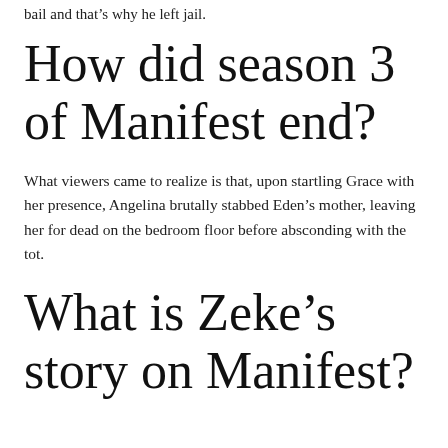bail and that's why he left jail.
How did season 3 of Manifest end?
What viewers came to realize is that, upon startling Grace with her presence, Angelina brutally stabbed Eden's mother, leaving her for dead on the bedroom floor before absconding with the tot.
What is Zeke's story on Manifest?